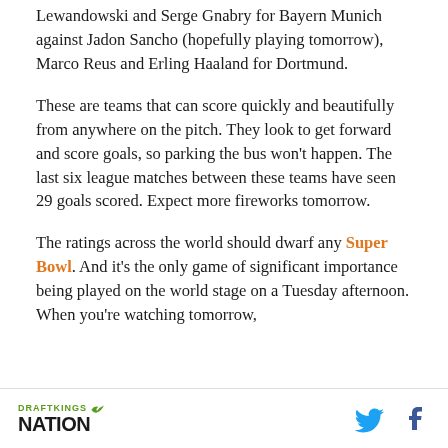Lewandowski and Serge Gnabry for Bayern Munich against Jadon Sancho (hopefully playing tomorrow), Marco Reus and Erling Haaland for Dortmund.
These are teams that can score quickly and beautifully from anywhere on the pitch. They look to get forward and score goals, so parking the bus won't happen. The last six league matches between these teams have seen 29 goals scored. Expect more fireworks tomorrow.
The ratings across the world should dwarf any Super Bowl. And it's the only game of significant importance being played on the world stage on a Tuesday afternoon. When you're watching tomorrow,
DRAFTKINGS NATION